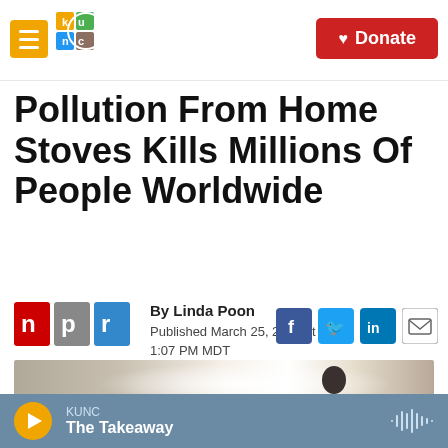KUNC logo and navigation header with Donate button
Pollution From Home Stoves Kills Millions Of People Worldwide
By Linda Poon
Published March 25, 2014 at 1:07 PM MDT
[Figure (photo): Photo showing a silhouette of a person against bright light, possibly near a cooking stove indoors]
KUNC — The Takeaway (audio player bar)